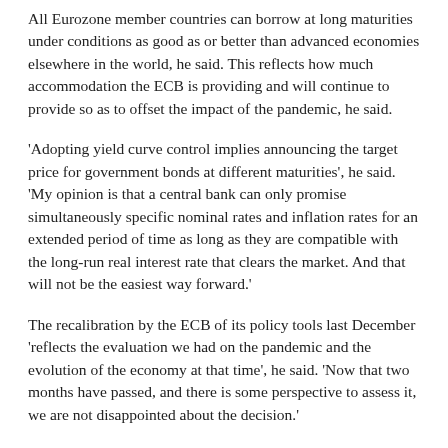All Eurozone member countries can borrow at long maturities under conditions as good as or better than advanced economies elsewhere in the world, he said. This reflects how much accommodation the ECB is providing and will continue to provide so as to offset the impact of the pandemic, he said.
'Adopting yield curve control implies announcing the target price for government bonds at different maturities', he said. 'My opinion is that a central bank can only promise simultaneously specific nominal rates and inflation rates for an extended period of time as long as they are compatible with the long-run real interest rate that clears the market. And that will not be the easiest way forward.'
The recalibration by the ECB of its policy tools last December 'reflects the evaluation we had on the pandemic and the evolution of the economy at that time', he said. 'Now that two months have passed, and there is some perspective to assess it, we are not disappointed about the decision.'